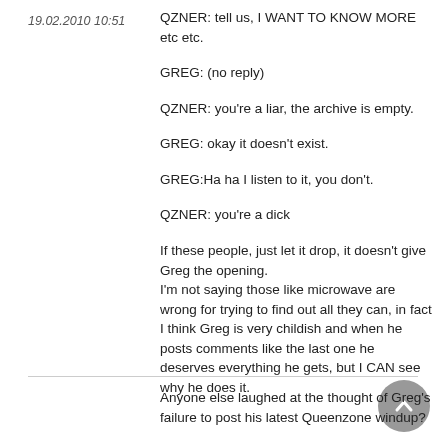19.02.2010 10:51
QZNER: tell us, I WANT TO KNOW MORE etc etc.
GREG: (no reply)
QZNER: you're a liar, the archive is empty.
GREG: okay it doesn't exist.
GREG:Ha ha I listen to it, you don't.
QZNER: you're a dick
If these people, just let it drop, it doesn't give Greg the opening.
I'm not saying those like microwave are wrong for trying to find out all they can, in fact I think Greg is very childish and when he posts comments like the last one he deserves everything he gets, but I CAN see why he does it.
Anyone else laughed at the thought of Greg's failure to post his latest Queenzone windup?